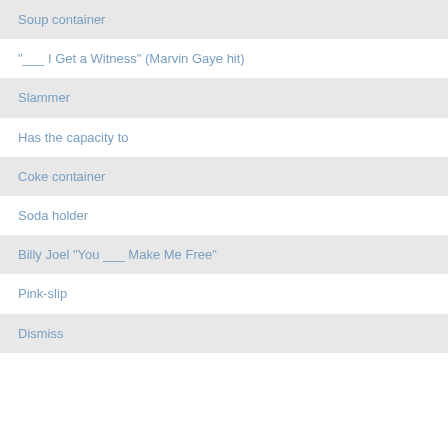Soup container
"___ I Get a Witness" (Marvin Gaye hit)
Slammer
Has the capacity to
Coke container
Soda holder
Billy Joel "You ___ Make Me Free"
Pink-slip
Dismiss